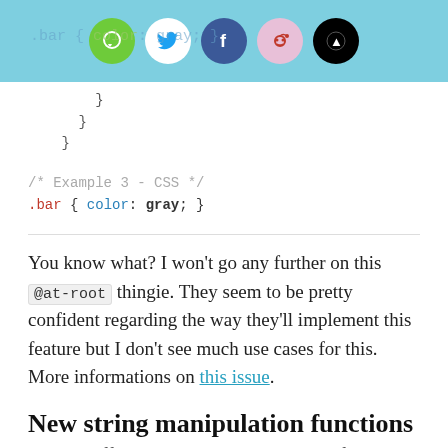[Figure (screenshot): Social sharing bar with icons: green message bubble, white Twitter bird, blue Facebook f, pink Reddit alien, black Buzz icon, overlaid on light blue background with partially visible CSS code]
}
      }
    }
/* Example 3 - CSS */
.bar { color: gray; }
You know what? I won't go any further on this @at-root thingie. They seem to be pretty confident regarding the way they'll implement this feature but I don't see much use cases for this. More informations on this issue.
New string manipulation functions
While sniffing into unmerged branches of Sass code, I